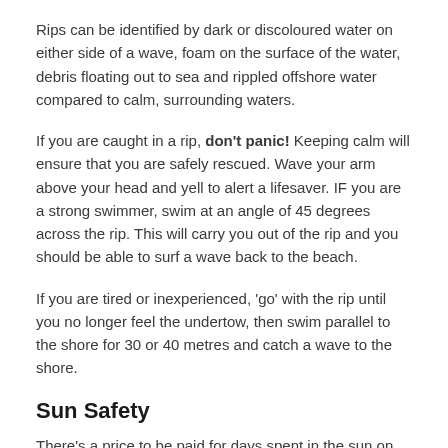Rips can be identified by dark or discoloured water on either side of a wave, foam on the surface of the water, debris floating out to sea and rippled offshore water compared to calm, surrounding waters.
If you are caught in a rip, don't panic! Keeping calm will ensure that you are safely rescued. Wave your arm above your head and yell to alert a lifesaver. IF you are a strong swimmer, swim at an angle of 45 degrees across the rip. This will carry you out of the rip and you should be able to surf a wave back to the beach.
If you are tired or inexperienced, 'go' with the rip until you no longer feel the undertow, then swim parallel to the shore for 30 or 40 metres and catch a wave to the shore.
Sun Safety
There's a price to be paid for days spent in the sun on our glorious beaches – skin cancer. Some skin